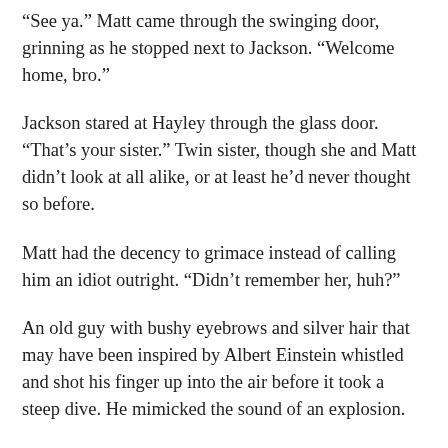“See ya.” Matt came through the swinging door, grinning as he stopped next to Jackson. “Welcome home, bro.”
Jackson stared at Hayley through the glass door. “That’s your sister.” Twin sister, though she and Matt didn’t look at all alike, or at least he’d never thought so before.
Matt had the decency to grimace instead of calling him an idiot outright. “Didn’t remember her, huh?”
An old guy with bushy eyebrows and silver hair that may have been inspired by Albert Einstein whistled and shot his finger up into the air before it took a steep dive. He mimicked the sound of an explosion.